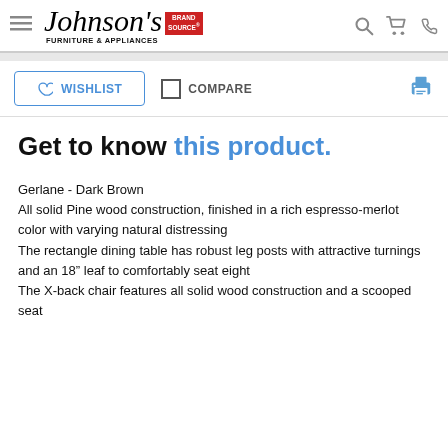Johnson's Furniture & Appliances - Brand Source
WISHLIST   COMPARE
Get to know this product.
Gerlane - Dark Brown
All solid Pine wood construction, finished in a rich espresso-merlot color with varying natural distressing
The rectangle dining table has robust leg posts with attractive turnings and an 18" leaf to comfortably seat eight
The X-back chair features all solid wood construction and a scooped seat